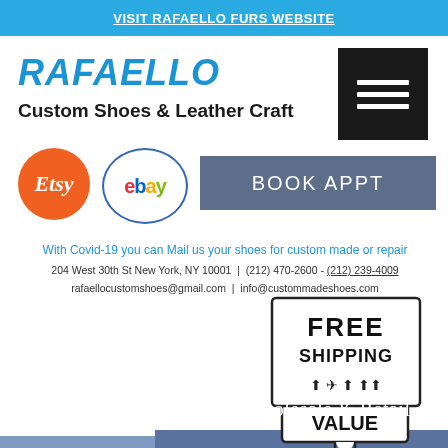VISIT RAFAELLO FURS WEBSITE
RAFAELLO
Custom Shoes & Leather Craft
[Figure (logo): Etsy orange circle logo with italic 'Etsy' text]
[Figure (logo): eBay oval logo with multicolor 'ebay' text]
BOOK APPT
With Covid-19 you can Mail us your shoes for custom made or repair
204 West 30th St New York, NY 10001  |  (212) 470-2600 - (212) 239-4009
rafaellocustomshoes@gmail.com  |  info@custommadeshoes.com
[Figure (illustration): Best Value badge with 5 stars and speech bubble shape]
[Figure (illustration): Free Shipping badge with shipping icons]
Shoes wholesale & Retail